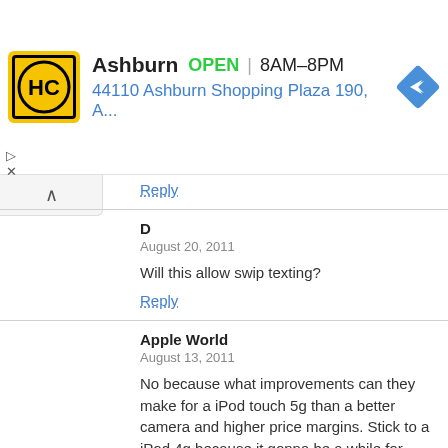[Figure (screenshot): HC store ad banner: yellow logo with HC letters, store name Ashburn, OPEN badge, hours 8AM-8PM, address 44110 Ashburn Shopping Plaza 190 A..., blue navigation diamond icon]
Reply
D
August 20, 2011

Will this allow swip texting?

Reply
Apple World
August 13, 2011

No because what improvements can they make for a iPod touch 5g than a better camera and higher price margins. Stick to a iPod 4g because it gonna be a while for iPhone 5 and matching iPod 5G ;)

Reply